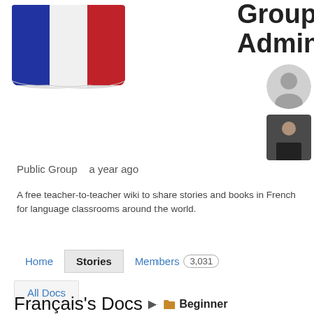[Figure (illustration): French flag emoji — blue, white, red vertical tricolor with wavy bottom edge]
Group Admins
[Figure (photo): Admin avatar 1 — generic grey silhouette placeholder]
[Figure (photo): Admin avatar 2 — photo of a person in dark jacket]
Public Group   a year ago
A free teacher-to-teacher wiki to share stories and books in French for language classrooms around the world.
Home   Stories   Members  3,031   All Docs
Français's Docs  ▶  🗂 Beginner